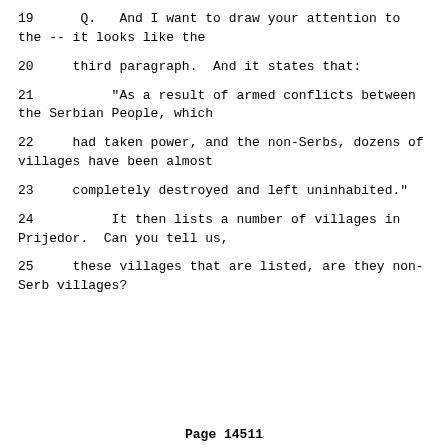19     Q.   And I want to draw your attention to the -- it looks like the
20     third paragraph.  And it states that:
21          "As a result of armed conflicts between the Serbian People, which
22     had taken power, and the non-Serbs, dozens of villages have been almost
23     completely destroyed and left uninhabited."
24          It then lists a number of villages in Prijedor.  Can you tell us,
25     these villages that are listed, are they non-Serb villages?
Page 14511